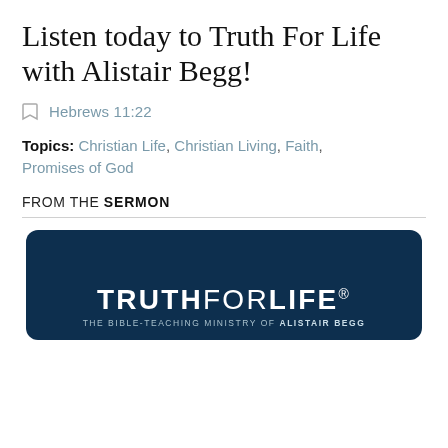Listen today to Truth For Life with Alistair Begg!
Hebrews 11:22
Topics: Christian Life, Christian Living, Faith, Promises of God
FROM THE SERMON
[Figure (logo): Truth For Life logo — white text on dark navy blue rounded rectangle background. Large bold text reads TRUTHFORLIFE with a registered trademark symbol. Below: THE BIBLE-TEACHING MINISTRY OF ALISTAIR BEGG]